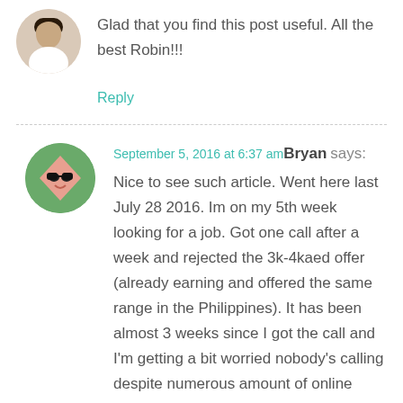Glad that you find this post useful. All the best Robin!!!
Reply
September 5, 2016 at 6:37 am Bryan says:
Nice to see such article. Went here last July 28 2016. Im on my 5th week looking for a job. Got one call after a week and rejected the 3k-4kaed offer (already earning and offered the same range in the Philippines). It has been almost 3 weeks since I got the call and I'm getting a bit worried nobody's calling despite numerous amount of online applications.